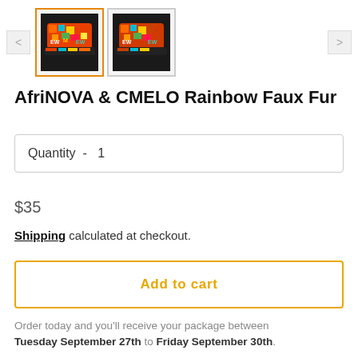[Figure (photo): Two thumbnail images of a colorful bucket hat (AfriNOVA & CMELO Rainbow Faux Fur hat). First thumbnail is highlighted with an orange border (active). Second thumbnail shows same hat without border.]
AfriNOVA & CMELO Rainbow Faux Fur
Quantity - 1
$35
Shipping calculated at checkout.
Add to cart
Order today and you'll receive your package between Tuesday September 27th to Friday September 30th.